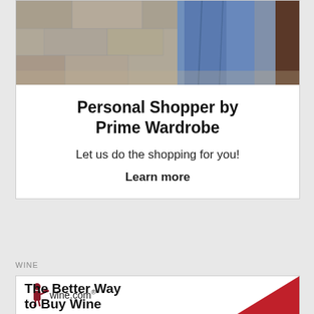[Figure (photo): Photo of jeans/clothing hanging near a stone or concrete wall, partial view]
Personal Shopper by Prime Wardrobe
Let us do the shopping for you!
Learn more
WINE
[Figure (logo): wine.com logo with a waiter figure icon and the text 'wine.com®']
The Better Way to Buy Wine